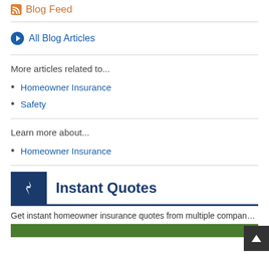Blog Feed
All Blog Articles
More articles related to...
Homeowner Insurance
Safety
Learn more about...
Homeowner Insurance
Instant Quotes
Get instant homeowner insurance quotes from multiple compan...